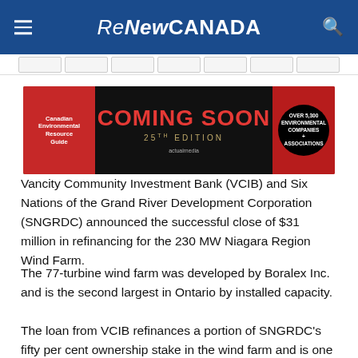ReNew CANADA
[Figure (illustration): Advertisement banner for Canadian Environmental Resource Guide – Coming Soon 25th Edition, over 5,300 environmental companies + associations]
Vancity Community Investment Bank (VCIB) and Six Nations of the Grand River Development Corporation (SNGRDC) announced the successful close of $31 million in refinancing for the 230 MW Niagara Region Wind Farm.
The 77-turbine wind farm was developed by Boralex Inc. and is the second largest in Ontario by installed capacity.
The loan from VCIB refinances a portion of SNGRDC's fifty per cent ownership stake in the wind farm and is one of 20